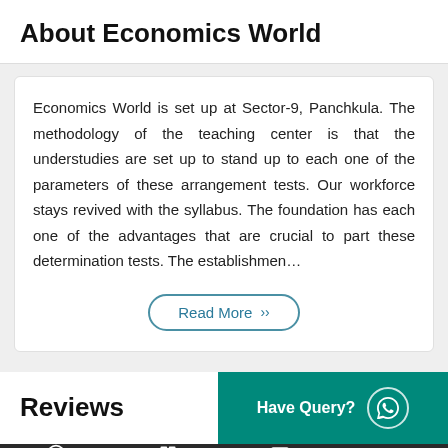About Economics World
Economics World is set up at Sector-9, Panchkula. The methodology of the teaching center is that the understudies are set up to stand up to each one of the parameters of these arrangement tests. Our workforce stays revived with the syllabus. The foundation has each one of the advantages that are crucial to part these determination tests. The establishmen…
Read More
Reviews
Have Query?
About Us   Courses   Gallery   Reviews